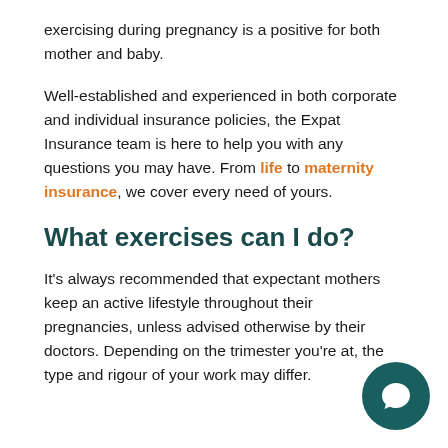exercising during pregnancy is a positive for both mother and baby.
Well-established and experienced in both corporate and individual insurance policies, the Expat Insurance team is here to help you with any questions you may have. From life to maternity insurance, we cover every need of yours.
What exercises can I do?
It's always recommended that expectant mothers keep an active lifestyle throughout their pregnancies, unless advised otherwise by their doctors. Depending on the trimester you're at, the type and rigour of your work may differ.